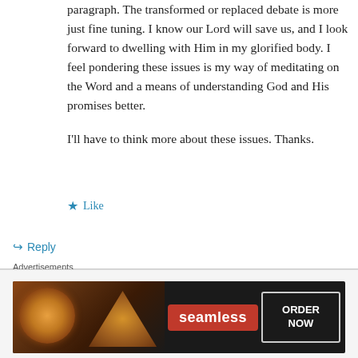paragraph. The transformed or replaced debate is more just fine tuning. I know our Lord will save us, and I look forward to dwelling with Him in my glorified body. I feel pondering these issues is my way of meditating on the Word and a means of understanding God and His promises better.

I'll have to think more about these issues. Thanks.
★ Like
↪ Reply
John Hutchins on February 1, 2012 at 16:04
Advertisements
[Figure (screenshot): Seamless food ordering advertisement banner showing pizza image, Seamless logo in red, and ORDER NOW button]